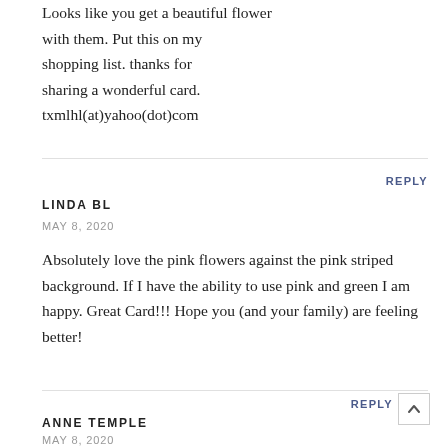Looks like you get a beautiful flower with them. Put this on my shopping list. thanks for sharing a wonderful card. txmlhl(at)yahoo(dot)com
REPLY
LINDA BL
MAY 8, 2020
Absolutely love the pink flowers against the pink striped background. If I have the ability to use pink and green I am happy. Great Card!!! Hope you (and your family) are feeling better!
REPLY
ANNE TEMPLE
MAY 8, 2020